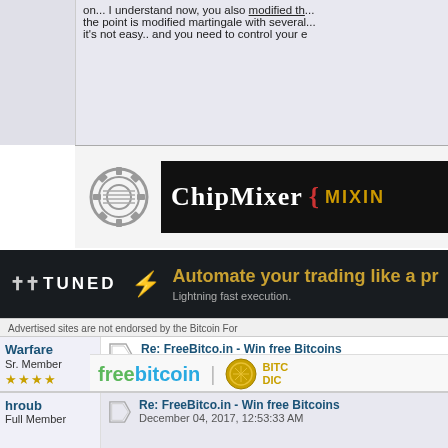on... I understand now, you also modified th... the point is modified martingale with several... it's not easy.. and you need to control your e
[Figure (screenshot): ChipMixer advertisement banner with gear logo and dark background]
[Figure (screenshot): TUNED trading automation advertisement banner with lightning bolt]
Advertised sites are not endorsed by the Bitcoin For
Warfare
Sr. Member
Activity: 868
Merit: 256
[Figure (photo): User avatar showing Zeus/warrior character]
Re: FreeBitco.in - Win free Bitcoins
December 04, 2017, 12:44:41 AM
LOTTERY ROUND 131
This round, the winner with the lowest numb... #1 won with 777,690 tickets.
[Figure (logo): freebitcoin and Bitcoin Dice advertisement logo]
hroub
Full Member
Re: FreeBitco.in - Win free Bitcoins
December 04, 2017, 12:53:33 AM